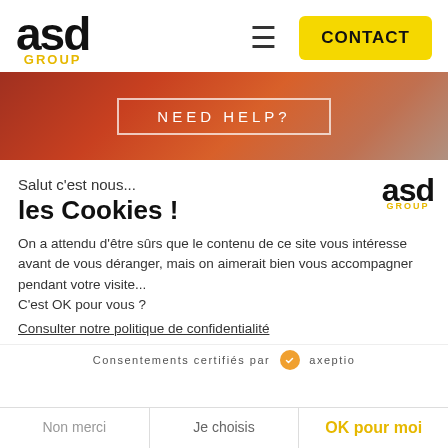[Figure (logo): ASD GROUP logo in black with yellow GROUP text]
≡
CONTACT
[Figure (illustration): Orange-red gradient hero banner with NEED HELP? text in white bordered box]
Salut c'est nous...
les Cookies !
[Figure (logo): Small ASD GROUP logo]
On a attendu d'être sûrs que le contenu de ce site vous intéresse avant de vous déranger, mais on aimerait bien vous accompagner pendant votre visite...
C'est OK pour vous ?
Consulter notre politique de confidentialité
Consentements certifiés par axeptio
Non merci
Je choisis
OK pour moi